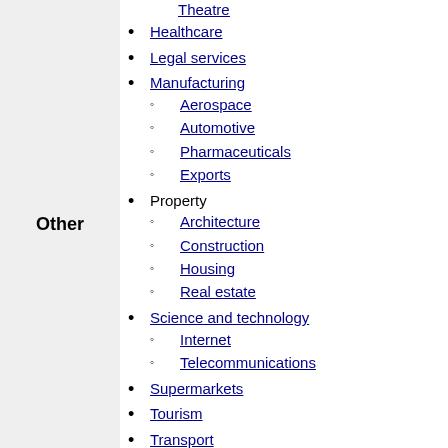Theatre (truncated at top)
Healthcare
Legal services
Manufacturing
Aerospace
Automotive
Pharmaceuticals
Exports
Property
Architecture
Construction
Housing
Real estate
Science and technology
Internet
Telecommunications
Supermarkets
Tourism
Transport
Aviation
Rail
Inter-city
High-speed
Business organisations